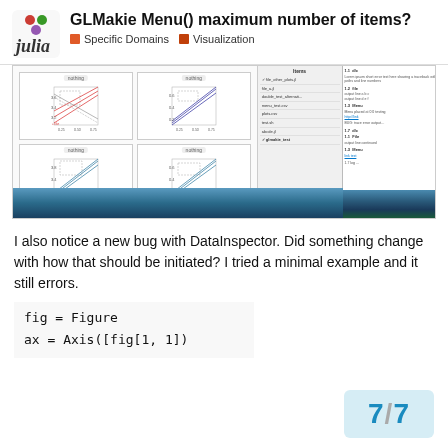GLMakie Menu() maximum number of items?
Specific Domains
Visualization
[Figure (screenshot): Screenshot showing GLMakie plots (4 subplot grid with line plots labeled 'nothing') alongside a macOS menu window and a code/terminal panel with ocean background]
I also notice a new bug with DataInspector. Did something change with how that should be initiated? I tried a minimal example and it still errors.
fig = Figure
ax = Axis([fig[1, 1])